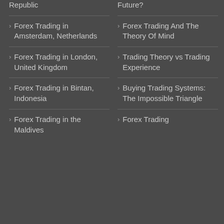Czech Republic
Forex Trading in Amsterdam, Netherlands
Forex Trading in London, United Kingdom
Forex Trading in Bintan, Indonesia
Forex Trading in the Maldives
Future?
Forex Trading And The Theory Of Mind
Trading Theory vs Trading Experience
Buying Trading Systems: The Impossible Triangle
Forex Trading